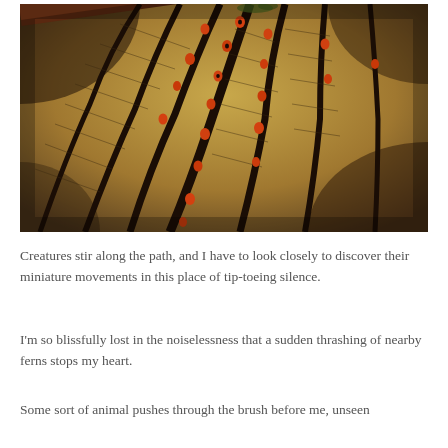[Figure (photo): Close-up macro photograph of large dried leaf veins with small orange and black insects (possibly milkweed bugs or similar) clustered along the prominent dark ribs of the leaf. The leaf has a golden-brown texture with fine parallel venation. A wooden railing or branch is visible at the top left.]
Creatures stir along the path, and I have to look closely to discover their miniature movements in this place of tip-toeing silence.
I'm so blissfully lost in the noiselessness that a sudden thrashing of nearby ferns stops my heart.
Some sort of animal pushes through the brush before me, unseen